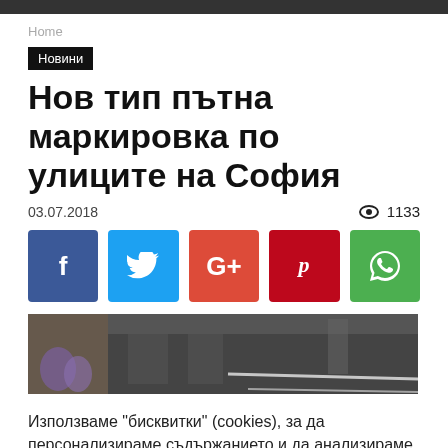Home
Новини
Нов тип пътна маркировка по улиците на София
03.07.2018  👁 1133
[Figure (infographic): Social share buttons: Facebook (blue), Twitter (cyan), Google+ (red-orange), Pinterest (red), WhatsApp (green)]
[Figure (photo): Street photo showing road markings in Sofia]
Използваме "бисквитки" (cookies), за да персонализираме съдържанието и да анализираме трафика си.
Cookie Settings  Accept All